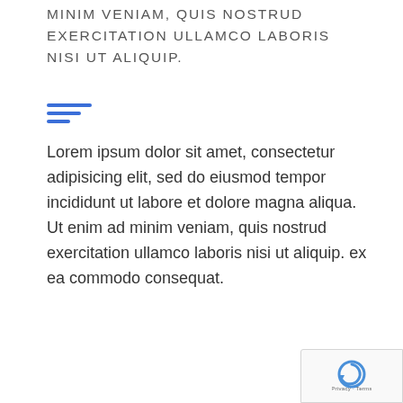MINIM VENIAM, QUIS NOSTRUD EXERCITATION ULLAMCO LABORIS NISI UT ALIQUIP.
[Figure (other): Three horizontal blue lines of varying width, forming a decorative divider/menu icon]
Lorem ipsum dolor sit amet, consectetur adipisicing elit, sed do eiusmod tempor incididunt ut labore et dolore magna aliqua. Ut enim ad minim veniam, quis nostrud exercitation ullamco laboris nisi ut aliquip. ex ea commodo consequat.
[Figure (logo): reCAPTCHA badge with logo and Privacy - Terms text]